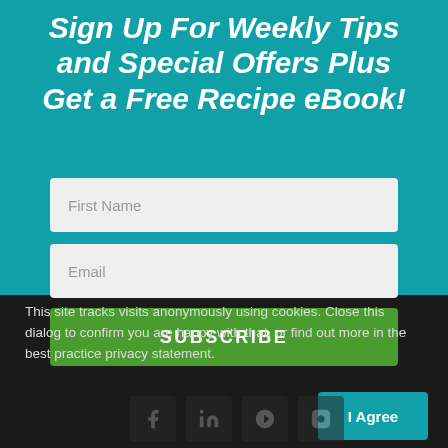Sign Up For Weekly Tips and Special Offers Plus Get a Free Recipe eBook!
[Figure (screenshot): Email subscription form with First Name and Email input fields and a green SUBSCRIBE button on a teal background]
This site tracks visits anonymously using cookies. Close this dialog to confirm you are happy with that, or find out more in the best practice privacy statement.
I Agree